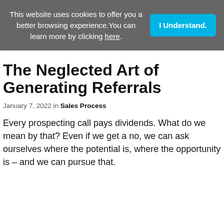This website uses cookies to offer you a better browsing experience. You can learn more by clicking here.
The Neglected Art of Generating Referrals
January 7, 2022 in Sales Process
Every prospecting call pays dividends. What do we mean by that? Even if we get a no, we can ask ourselves where the potential is, where the opportunity is – and we can pursue that.